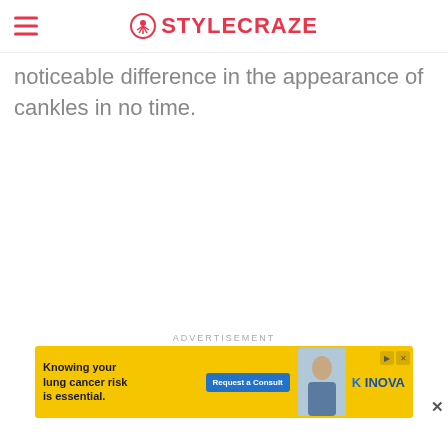STYLECRAZE
noticeable difference in the appearance of cankles in no time.
ADVERTISEMENT
[Figure (screenshot): Advertisement banner: yellow background with text 'Knowing your lung cancer risk is essential.', a blue 'Request a Consult' button, a photo of a woman, and INOVA logo with play/close controls.]